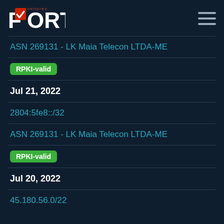[Figure (logo): FORT monitoreo logo with checkmark in red on white shield, bold white FORT text, and hamburger menu icon on right]
ASN 269131 - LK Maia Telecon LTDA-ME
RPKI-valid
Jul 21, 2022
2804:5fe8::/32
ASN 269131 - LK Maia Telecon LTDA-ME
RPKI-valid
Jul 20, 2022
45.180.56.0/22